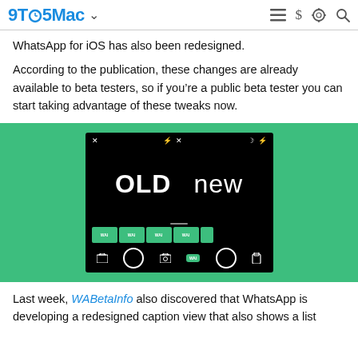9TO5Mac
WhatsApp for iOS has also been redesigned.
According to the publication, these changes are already available to beta testers, so if you’re a public beta tester you can start taking advantage of these tweaks now.
[Figure (screenshot): WhatsApp camera interface screenshot on green background showing OLD vs NEW comparison with gallery strip and bottom controls]
Last week, WABetaInfo also discovered that WhatsApp is developing a redesigned caption view that also shows a list